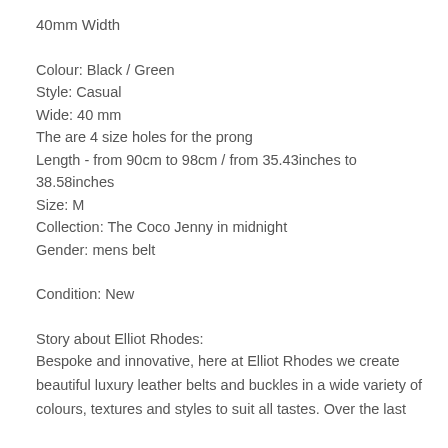40mm Width
Colour: Black / Green
Style: Casual
Wide: 40 mm
The are 4 size holes for the prong
Length - from 90cm to 98cm / from 35.43inches to 38.58inches
Size: M
Collection: The Coco Jenny in midnight
Gender: mens belt
Condition: New
Story about Elliot Rhodes:
Bespoke and innovative, here at Elliot Rhodes we create beautiful luxury leather belts and buckles in a wide variety of colours, textures and styles to suit all tastes. Over the last